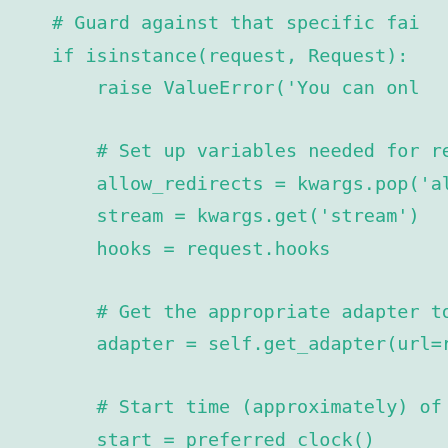# Guard against that specific fai
    if isinstance(request, Request):
        raise ValueError('You can onl

    # Set up variables needed for reso
    allow_redirects = kwargs.pop('allo
    stream = kwargs.get('stream')
    hooks = request.hooks

    # Get the appropriate adapter to u
    adapter = self.get_adapter(url=req

    # Start time (approximately) of th
    start = preferred_clock()

    # Send the request
    r = adapter.send(request, **kwargs